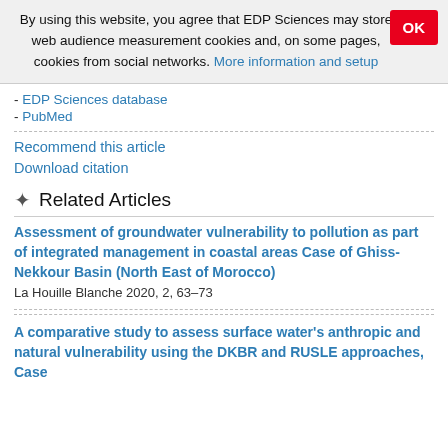By using this website, you agree that EDP Sciences may store web audience measurement cookies and, on some pages, cookies from social networks. More information and setup
- EDP Sciences database
- PubMed
Recommend this article
Download citation
Related Articles
Assessment of groundwater vulnerability to pollution as part of integrated management in coastal areas Case of Ghiss-Nekkour Basin (North East of Morocco)
La Houille Blanche 2020, 2, 63–73
A comparative study to assess surface water's anthropic and natural vulnerability using the DKBR and RUSLE approaches, Case